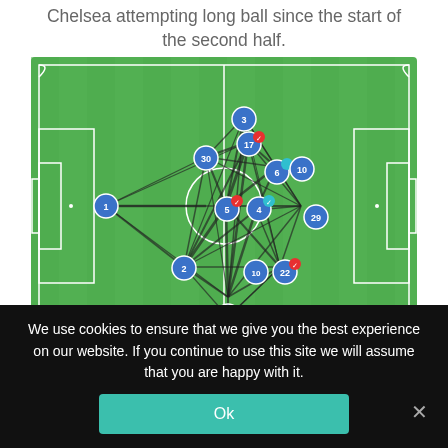Chelsea attempting long ball since the start of the second half.
[Figure (other): Football/soccer pitch diagram showing passing network with numbered player nodes (1, 2, 3, 4, 5, 6, 10, 17, 22, 28, 29, 30) connected by lines of varying thickness indicating pass frequency. Blue circles for most players, red markers for some. Arrow at bottom left indicating direction of play.]
We use cookies to ensure that we give you the best experience on our website. If you continue to use this site we will assume that you are happy with it.